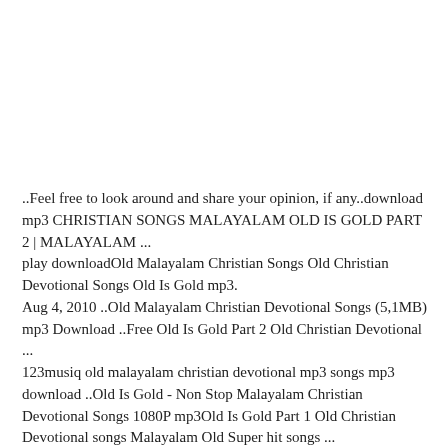..Feel free to look around and share your opinion, if any..download mp3 CHRISTIAN SONGS MALAYALAM OLD IS GOLD PART 2 | MALAYALAM ...
play downloadOld Malayalam Christian Songs Old Christian Devotional Songs Old Is Gold mp3.
Aug 4, 2010 ..Old Malayalam Christian Devotional Songs (5,1MB) mp3 Download ..Free Old Is Gold Part 2 Old Christian Devotional ...
123musiq old malayalam christian devotional mp3 songs mp3 download ..Old Is Gold - Non Stop Malayalam Christian Devotional Songs 1080P mp3Old Is Gold Part 1 Old Christian Devotional songs Malayalam Old Super hit songs ...
Free MP3 Songs Download - eMP3FREE.coChristian devotional songs Malayalam | Old is Gold | Christian songs ...
Dec 5, 2014 ..